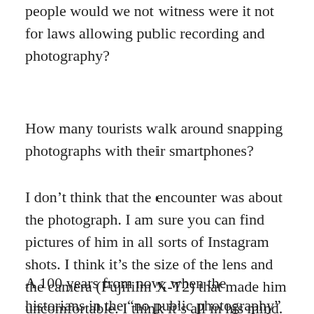people would we not witness were it not for laws allowing public recording and photography?
How many tourists walk around snapping photographs with their smartphones?
I don’t think that the encounter was about the photograph. I am sure you can find pictures of him in all sorts of Instagram shots. I think it’s the size of the lens and the camera (Fujifilm X-T2) that made him uncomfortable. I think it’s all in his mind.
A 100 years from now, when the historians in the “no public photography” counties start